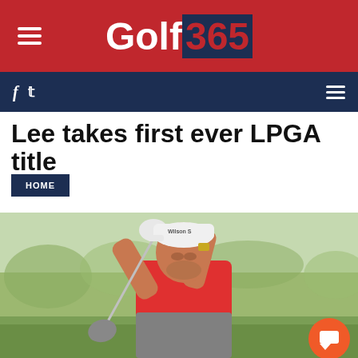Golf 365
Lee takes first ever LPGA title
HOME
[Figure (photo): Male golfer in red and grey shirt wearing a white Wilson Staff cap, swinging a golf club on a golf course with green fairway in background]